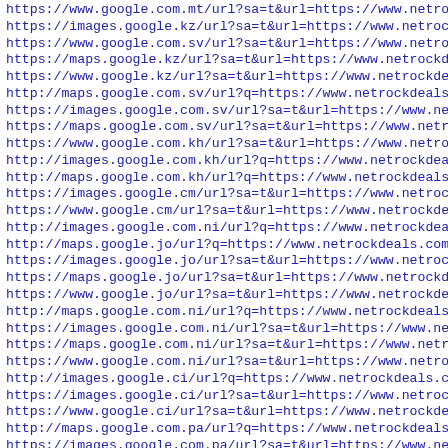https://www.google.com.mt/url?sa=t&url=https://www.netrocko
https://images.google.kz/url?sa=t&url=https://www.netrockde
https://www.google.com.sv/url?sa=t&url=https://www.netrocko
https://maps.google.kz/url?sa=t&url=https://www.netrockdeal
https://www.google.kz/url?sa=t&url=https://www.netrockdeals
http://maps.google.com.sv/url?q=https://www.netrockdeals.co
https://images.google.com.sv/url?sa=t&url=https://www.netro
https://maps.google.com.sv/url?sa=t&url=https://www.netrock
https://www.google.com.kh/url?sa=t&url=https://www.netrockd
http://images.google.com.kh/url?q=https://www.netrockdeals.
http://maps.google.com.kh/url?q=https://www.netrockdeals.co
https://images.google.cm/url?sa=t&url=https://www.netrockde
https://www.google.cm/url?sa=t&url=https://www.netrockdeals
http://images.google.com.ni/url?q=https://www.netrockdeals.
http://maps.google.jo/url?q=https://www.netrockdeals.com/st
https://images.google.jo/url?sa=t&url=https://www.netrockde
https://maps.google.jo/url?sa=t&url=https://www.netrockdeal
https://www.google.jo/url?sa=t&url=https://www.netrockdeals
http://maps.google.com.ni/url?q=https://www.netrockdeals.co
https://images.google.com.ni/url?sa=t&url=https://www.netro
https://maps.google.com.ni/url?sa=t&url=https://www.netrock
https://www.google.com.ni/url?sa=t&url=https://www.netrockd
http://images.google.ci/url?q=https://www.netrockdeals.com/
https://images.google.ci/url?sa=t&url=https://www.netrockde
https://www.google.ci/url?sa=t&url=https://www.netrockdeals
http://maps.google.com.pa/url?q=https://www.netrockdeals.co
https://images.google.com.pa/url?sa=t&url=https://www.netro
https://www.google.com.pa/url?sa=t&url=https://www.netrockd
http://maps.google.com.gh/url?q=https://www.netrockdeals.co
https://images.google.com.gh/url?sa=t&url=https://www.netro